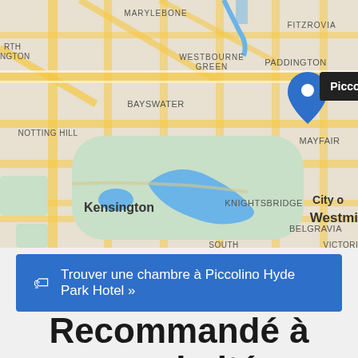[Figure (map): Google Maps screenshot showing central London with a blue location pin marker and tooltip 'Piccolino Hyde Park Hotel'. Visible neighborhoods include Westbourne Green, Paddington, Bayswater, Notting Hill, Kensington, Mayfair, Knightsbridge, Belgravia, Marylebone, Fitzrovia, Victoria, City of Westminster. Hyde Park shown in green with the Serpentine lake in blue.]
Trouver une chambre à Piccolino Hyde Park Hotel »
Recommandé à proximité